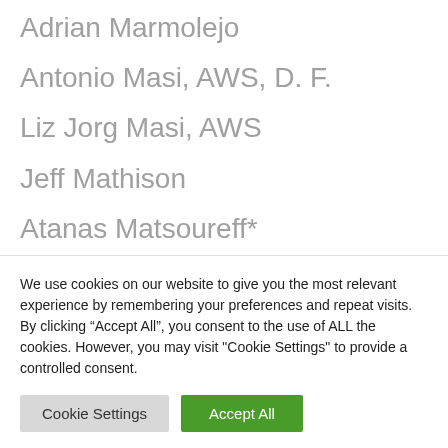Adrian Marmolejo
Antonio Masi, AWS, D. F.
Liz Jorg Masi, AWS
Jeff Mathison
Atanas Matsoureff*
We use cookies on our website to give you the most relevant experience by remembering your preferences and repeat visits. By clicking “Accept All”, you consent to the use of ALL the cookies. However, you may visit "Cookie Settings" to provide a controlled consent.
Cookie Settings | Accept All